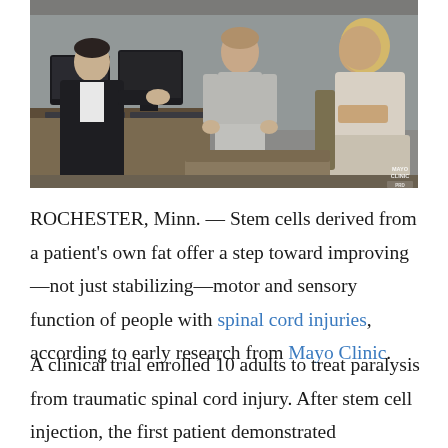[Figure (photo): A medical consultation scene showing a doctor in a dark suit on the left speaking with a young patient standing in gray shorts and shirt, and a woman seated on the right in a light sleeveless top, in an office with computers and a desk visible. Mayo Clinic watermark in lower right corner.]
ROCHESTER, Minn. — Stem cells derived from a patient's own fat offer a step toward improving—not just stabilizing—motor and sensory function of people with spinal cord injuries, according to early research from Mayo Clinic.
A clinical trial enrolled 10 adults to treat paralysis from traumatic spinal cord injury. After stem cell injection, the first patient demonstrated improvement in motor and sensory functions, and had no significant adverse